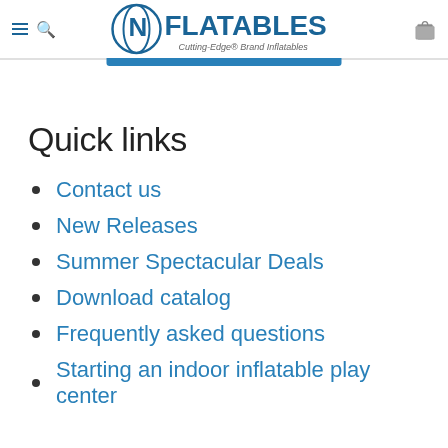NFlatables — Cutting-Edge Brand Inflatables
Quick links
Contact us
New Releases
Summer Spectacular Deals
Download catalog
Frequently asked questions
Starting an indoor inflatable play center